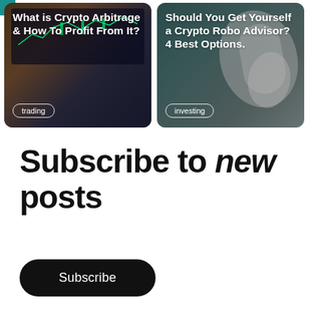[Figure (photo): Card with dark crypto trading chart background showing 'What is Crypto Arbitrage & How To Profit From It?' with a 'trading' tag badge]
[Figure (photo): Card with white headphones/earbuds background showing 'Should You Get Yourself a Crypto Robo Advisor? 4 Best Options.' with an 'investing' tag badge]
Subscribe to new posts
Subscribe